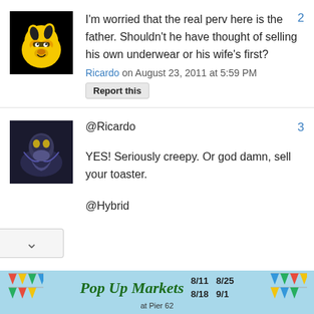[Figure (illustration): Avatar image of a cartoon yellow dog character with sunglasses on a black background]
I'm worried that the real perv here is the father. Shouldn't he have thought of selling his own underwear or his wife's first?
Ricardo on August 23, 2011 at 5:59 PM
Report this
[Figure (photo): Avatar image showing a dark artistic photo of a person or figure]
@Ricardo
YES! Seriously creepy. Or god damn, sell your toaster.
@Hybrid
[Figure (illustration): Pop Up Markets at Pier 62 advertisement banner with colorful bunting flags, dates 8/11, 8/25, 8/18, 9/1]